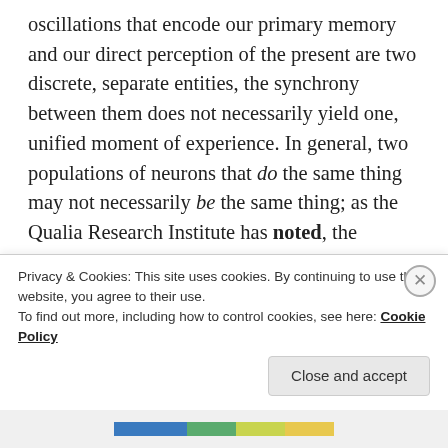oscillations that encode our primary memory and our direct perception of the present are two discrete, separate entities, the synchrony between them does not necessarily yield one, unified moment of experience. In general, two populations of neurons that do the same thing may not necessarily be the same thing; as the Qualia Research Institute has noted, the functional unity of neural oscillations does not seem to give rise to the ontological unity of experience. Furthermore, as the philosopher David Pearce has said, “Mere synchronous neuronal f—————…
Privacy & Cookies: This site uses cookies. By continuing to use this website, you agree to their use.
To find out more, including how to control cookies, see here: Cookie Policy
Close and accept